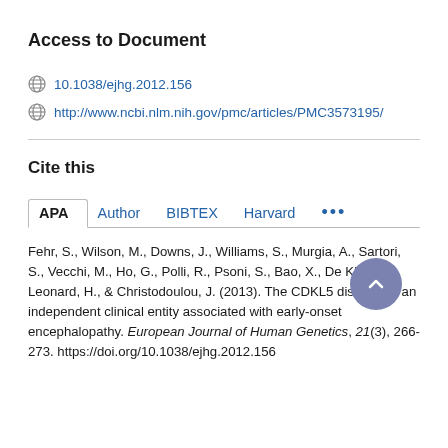Access to Document
10.1038/ejhg.2012.156
http://www.ncbi.nlm.nih.gov/pmc/articles/PMC3573195/
Cite this
APA   Author   BIBTEX   Harvard   ...
Fehr, S., Wilson, M., Downs, J., Williams, S., Murgia, A., Sartori, S., Vecchi, M., Ho, G., Polli, R., Psoni, S., Bao, X., De Klerk, N., Leonard, H., & Christodoulou, J. (2013). The CDKL5 disorder is an independent clinical entity associated with early-onset encephalopathy. European Journal of Human Genetics, 21(3), 266-273. https://doi.org/10.1038/ejhg.2012.156